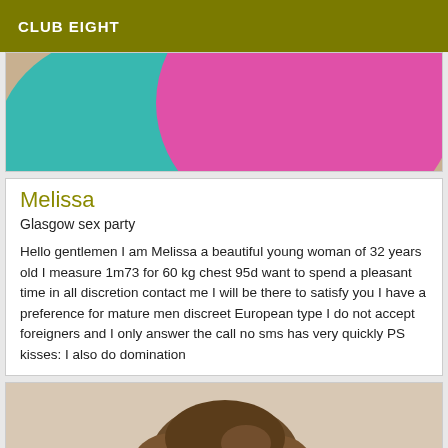CLUB EIGHT
[Figure (photo): Close-up photo showing teal/turquoise and pink/magenta rounded fabric or balloon shapes against a light background]
Melissa
Glasgow sex party
Hello gentlemen I am Melissa a beautiful young woman of 32 years old I measure 1m73 for 60 kg chest 95d want to spend a pleasant time in all discretion contact me I will be there to satisfy you I have a preference for mature men discreet European type I do not accept foreigners and I only answer the call no sms has very quickly PS kisses: I also do domination
[Figure (photo): Partial photo showing top of a person's head with brown hair against a light background, cropped at the bottom of the page]